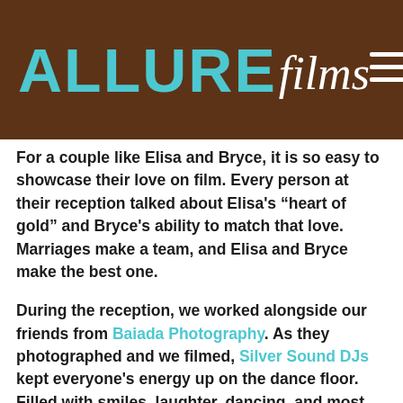ALLURE Films
For a couple like Elisa and Bryce, it is so easy to showcase their love on film. Every person at their reception talked about Elisa’s “heart of gold” and Bryce’s ability to match that love. Marriages make a team, and Elisa and Bryce make the best one.
During the reception, we worked alongside our friends from Baiada Photography. As they photographed and we filmed, Silver Sound DJs kept everyone’s energy up on the dance floor. Filled with smiles, laughter, dancing, and most importantly, love, Elisa and Bryce celebrated a beautiful wedding day.
We’re so honored to have filmed Elisa and Bryce’s wedding